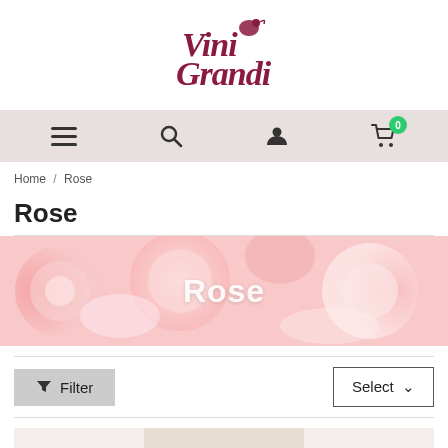[Figure (logo): Vini Grandi logo with decorative serif text and small bird/grape illustration]
Navigation bar with menu, search, account, and cart icons
Home / Rose
Rose
[Figure (photo): Banner image of rose wine glasses with pink hues and overlay text 'Rose']
Filter   Select
[Figure (photo): Partial product preview at bottom of page]